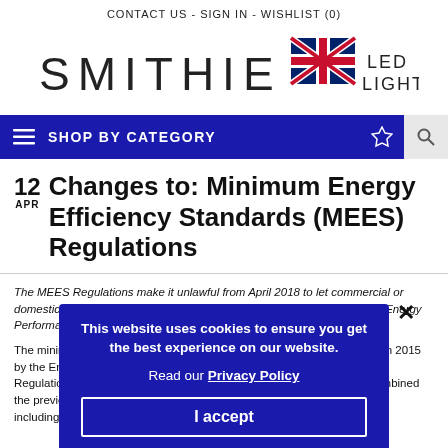CONTACT US  -  SIGN IN  -  WISHLIST (0)
[Figure (logo): Smithie LED Lighting logo with UK flag]
SHOP BY CATEGORY
12 APR — Changes to: Minimum Energy Efficiency Standards (MEES) Regulations
The MEES Regulations make it unlawful from April 2018 to let commercial or domestic buildings in England and Wales, which do not have a minimum Energy Performance Certificate (EPC) rating of at least E.
The minimum energy efficiency standard (MEES) was introduced in March 2015 by the Energy Efficiency (Private Rented Property) (England and Wales) Regulations 2015 which was derived from the Energy Act 2011 which combined the previous Coalition government's package of energy efficiency policies including the Green Deal.